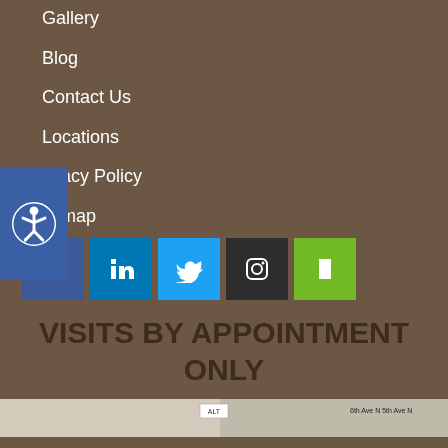Gallery
Blog
Contact Us
Locations
Privacy Policy
Sitemap
[Figure (other): Social media icon buttons: Facebook (blue), LinkedIn (blue), Twitter (light blue), Instagram (dark gray), Houzz (green)]
VISITS BY APPOINTMENT ONLY
[Figure (map): Small map preview image at the bottom of the page]